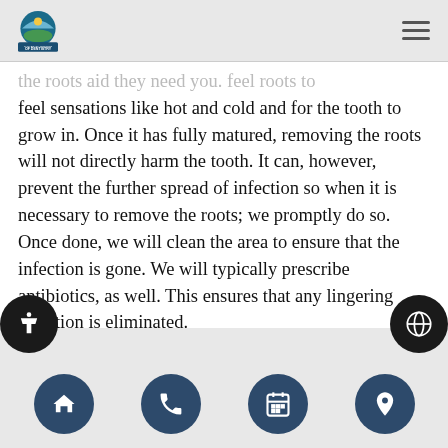Palm Beach Institute of Dentistry
the roots aid they need you. feel roots to feel sensations like hot and cold and for the tooth to grow in. Once it has fully matured, removing the roots will not directly harm the tooth. It can, however, prevent the further spread of infection so when it is necessary to remove the roots; we promptly do so. Once done, we will clean the area to ensure that the infection is gone. We will typically prescribe antibiotics, as well. This ensures that any lingering infection is eliminated.
In order to complete the root canal, we will seal up the hole and area where the dental